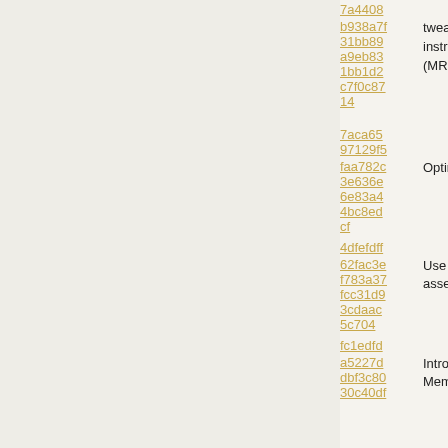7a4408 / 5eb6044ed4b9
b938a7f tweaks to IA32 floating point 8bbef563a1f46
31bb89 instructions, correct floating instruction twe...
a9eb83 point remainder for IA32 d15fbc4bbf0fce
1bb1d2 baseline compiler (MRP-12 1c35fecc2af6
c7f0c87 / RVM-1119) pointer remain compiler)
14
7aca65
97129f5
faa782c Optimizations for floating 894adb4a1da6
3e636e point operations with NaN feeff60d60b24
6e83a4
4bc8ed
cf
4dfefdff
62fac3e Use isValidAs8bitRegister() 5ea8db526457
f783a37 for more assertions in the 8cc6de3ebe62
fcc31d9 IA32 assembler
3cdaac
5c704
fc1edfd
a5227d Introduce helper method for
dbf3c80 accessing cf53c9958e9f2
30c40df MemberReferences as